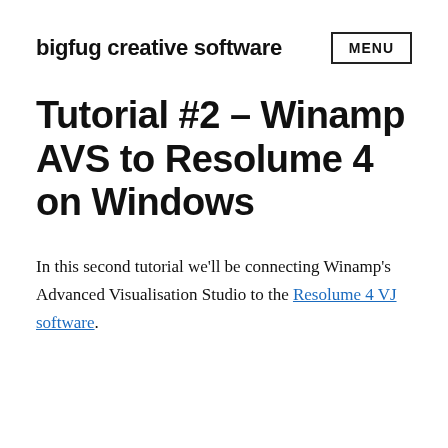bigfug creative software   MENU
Tutorial #2 – Winamp AVS to Resolume 4 on Windows
In this second tutorial we'll be connecting Winamp's Advanced Visualisation Studio to the Resolume 4 VJ software.